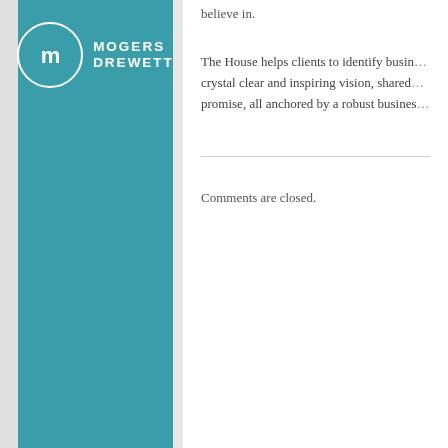[Figure (logo): Mogers Drewett logo — white circle with stylised M icon and text MOGERS DREWETT on teal background]
believe in.
The House helps clients to identify busin... crystal clear and inspiring vision, shared ... promise, all anchored by a robust busines...
Comments are closed.